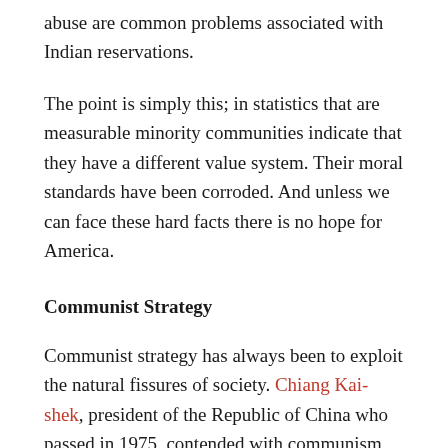abuse are common problems associated with Indian reservations.
The point is simply this; in statistics that are measurable minority communities indicate that they have a different value system. Their moral standards have been corroded. And unless we can face these hard facts there is no hope for America.
Communist Strategy
Communist strategy has always been to exploit the natural fissures of society. Chiang Kai-shek, president of the Republic of China who passed in 1975, contended with communism for over thirty years. His first-hand observation was that the communist strategy is “always to analyze a country’s social structure before infiltrating it. They not only explore and exploit, but also create